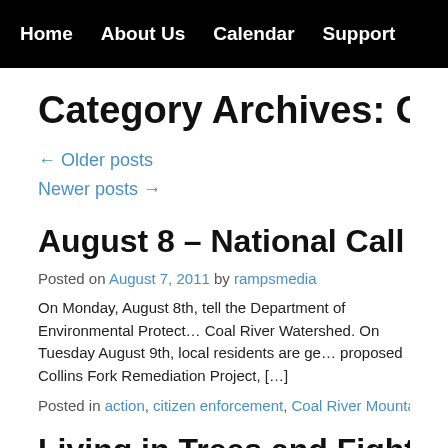Home   About Us   Calendar   Support
Category Archives: Coal Riv
← Older posts
Newer posts →
August 8 – National Call In Day to
Posted on August 7, 2011 by rampsmedia
On Monday, August 8th, tell the Department of Environmental Protect… Coal River Watershed. On Tuesday August 9th, local residents are ge… proposed Collins Fork Remediation Project, […]
Posted in action, citizen enforcement, Coal River Mountain, regulator…
Living in Trees and Fighting Injusti